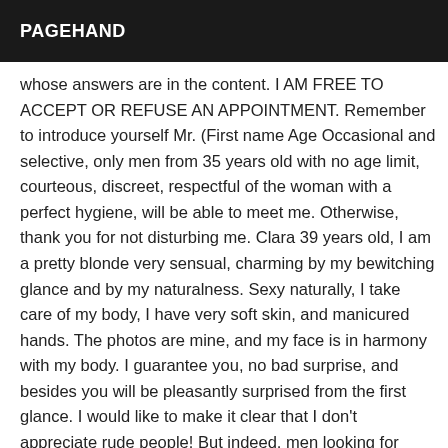PAGEHAND
whose answers are in the content. I AM FREE TO ACCEPT OR REFUSE AN APPOINTMENT. Remember to introduce yourself Mr. (First name Age Occasional and selective, only men from 35 years old with no age limit, courteous, discreet, respectful of the woman with a perfect hygiene, will be able to meet me. Otherwise, thank you for not disturbing me. Clara 39 years old, I am a pretty blonde very sensual, charming by my bewitching glance and by my naturalness. Sexy naturally, I take care of my body, I have very soft skin, and manicured hands. The photos are mine, and my face is in harmony with my body. I guarantee you, no bad surprise, and besides you will be pleasantly surprised from the first glance. I would like to make it clear that I don't appreciate rude people! But indeed, men looking for shared emotions, sensations and well-being. The meeting is made, in joy and good mood. For a pleasant and perfect getaway for two, a true quality sharing, I will